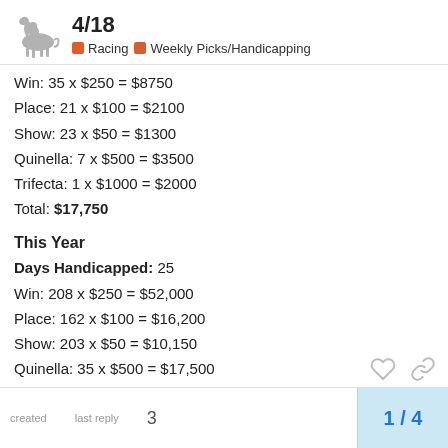4/18 Racing Weekly Picks/Handicapping
Win: 35 x $250 = $8750
Place: 21 x $100 = $2100
Show: 23 x $50 = $1300
Quinella: 7 x $500 = $3500
Trifecta: 1 x $1000 = $2000
Total: $17,750
This Year
Days Handicapped: 25
Win: 208 x $250 = $52,000
Place: 162 x $100 = $16,200
Show: 203 x $50 = $10,150
Quinella: 35 x $500 = $17,500
Trifecta: 23 x $1000 = $23,000
Total: $119,450
created  last reply  3  1 / 4